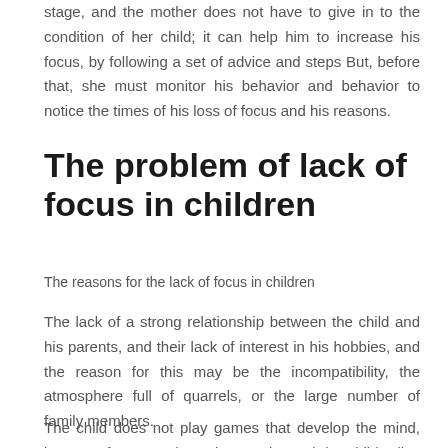stage, and the mother does not have to give in to the condition of her child; it can help him to increase his focus, by following a set of advice and steps But, before that, she must monitor his behavior and behavior to notice the times of his loss of focus and his reasons.
The problem of lack of focus in children
The reasons for the lack of focus in children
The lack of a strong relationship between the child and his parents, and their lack of interest in his hobbies, and the reason for this may be the incompatibility, the atmosphere full of quarrels, or the large number of family members.
The child does not play games that develop the mind, increase focus, such as the puzzle, and the child relies on toys for toys, bears, and regular games.